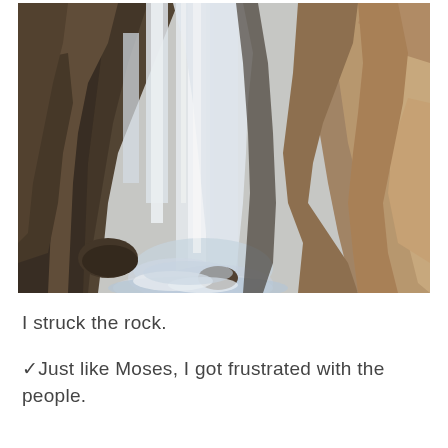[Figure (photo): Waterfall cascading down rocky cliff face, viewed from below/side angle. Water flows in white streams against dark brown and tan rocky terrain. Long exposure photography style giving the water a silky appearance.]
I struck the rock.
✓Just like Moses, I got frustrated with the people.